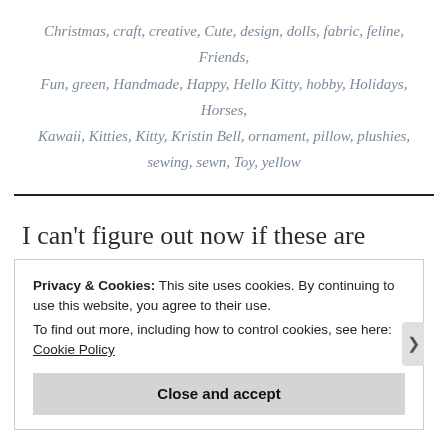Christmas, craft, creative, Cute, design, dolls, fabric, feline, Friends, Fun, green, Handmade, Happy, Hello Kitty, hobby, Holidays, Horses, Kawaii, Kitties, Kitty, Kristin Bell, ornament, pillow, plushies, sewing, sewn, Toy, yellow
I can't figure out now if these are actually kitties or bears or some weird hybrid! lol. I decided to make some of these kitties for different people using different fabrics. Here we have: green kitty, beach kitty and horse
Privacy & Cookies: This site uses cookies. By continuing to use this website, you agree to their use.
To find out more, including how to control cookies, see here: Cookie Policy